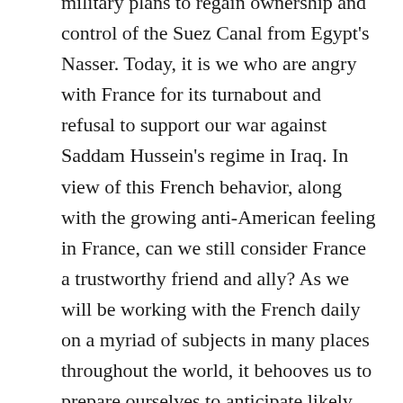military plans to regain ownership and control of the Suez Canal from Egypt's Nasser. Today, it is we who are angry with France for its turnabout and refusal to support our war against Saddam Hussein's regime in Iraq. In view of this French behavior, along with the growing anti-American feeling in France, can we still consider France a trustworthy friend and ally? As we will be working with the French daily on a myriad of subjects in many places throughout the world, it behooves us to prepare ourselves to anticipate likely French behavior in future dealings and thus minimize unpleasant surprises arising from